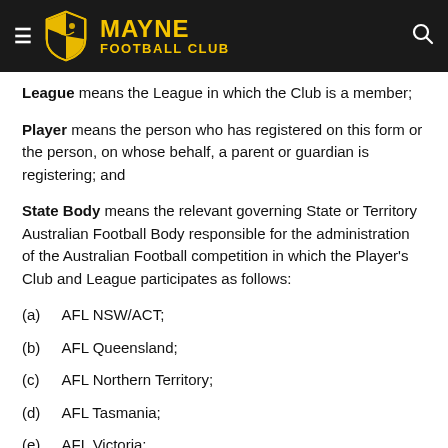Mayne Football Club
League means the League in which the Club is a member;
Player means the person who has registered on this form or the person, on whose behalf, a parent or guardian is registering; and
State Body means the relevant governing State or Territory Australian Football Body responsible for the administration of the Australian Football competition in which the Player's Club and League participates as follows:
(a)  AFL NSW/ACT;
(b)  AFL Queensland;
(c)  AFL Northern Territory;
(d)  AFL Tasmania;
(e)  AFL Victoria;